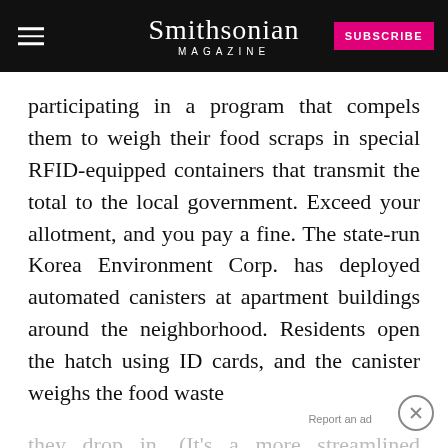Smithsonian MAGAZINE | SUBSCRIBE
participating in a program that compels them to weigh their food scraps in special RFID-equipped containers that transmit the total to the local government. Exceed your allotment, and you pay a fine. The state-run Korea Environment Corp. has deployed automated canisters at apartment buildings around the neighborhood. Residents open the hatch using ID cards, and the canister weighs the food waste they drop in. (It's a more streamlined version of earlier programs that required residents to buy special plastic bags in which to collect and